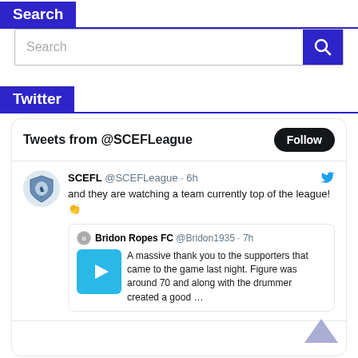Search
[Figure (screenshot): Search input bar with magnifying glass button]
Twitter
[Figure (screenshot): Twitter widget showing tweets from @SCEFLeague with a Follow button, a tweet from SCEFL about watching a team currently top of the league, and a retweet from Bridon Ropes FC thanking supporters]